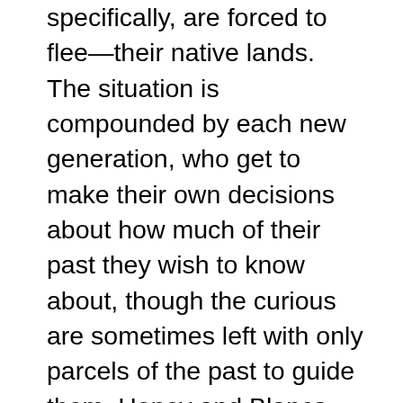specifically, are forced to flee—their native lands. The situation is compounded by each new generation, who get to make their own decisions about how much of their past they wish to know about, though the curious are sometimes left with only parcels of the past to guide them. Honey and Blanca don't set out on their quest—an elaborate, effects-laden and spectacularly entertaining series of scenes that consume much of the second half of the play and highlight the breathtaking designs of Jeffrey Levin (sound), Claire Chrzan (lights), Mieka van der Ploeg (costumes), Eleanor Kahn (scenic) and Liviu Pasare (projection)—in pursuit of their Guatemalan identity. What they are looking for